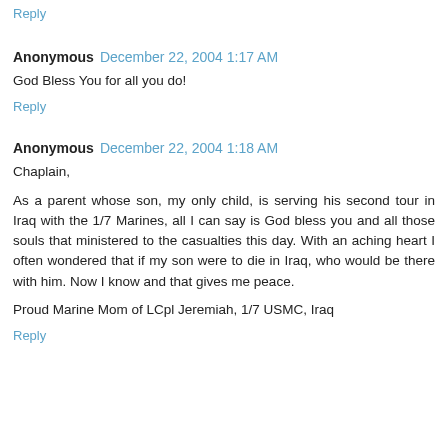Reply
Anonymous  December 22, 2004 1:17 AM
God Bless You for all you do!
Reply
Anonymous  December 22, 2004 1:18 AM
Chaplain,
As a parent whose son, my only child, is serving his second tour in Iraq with the 1/7 Marines, all I can say is God bless you and all those souls that ministered to the casualties this day. With an aching heart I often wondered that if my son were to die in Iraq, who would be there with him. Now I know and that gives me peace.
Proud Marine Mom of LCpl Jeremiah, 1/7 USMC, Iraq
Reply